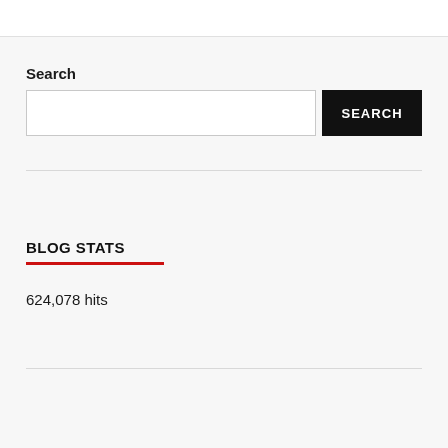Search
SEARCH (button)
BLOG STATS
624,078 hits